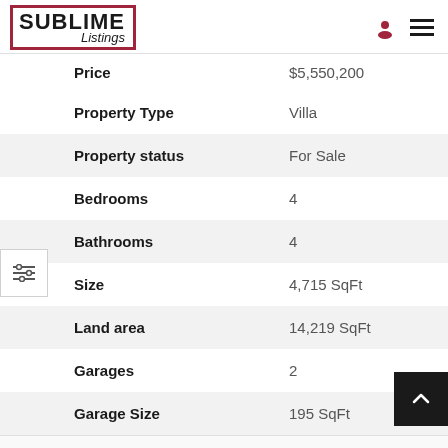SUBLIME Listings
| Field | Value |
| --- | --- |
| Price | $5,550,200 |
| Property Type | Villa |
| Property status | For Sale |
| Bedrooms | 4 |
| Bathrooms | 4 |
| Size | 4,715 SqFt |
| Land area | 14,219 SqFt |
| Garages | 2 |
| Garage Size | 195 SqFt |
FEATURES